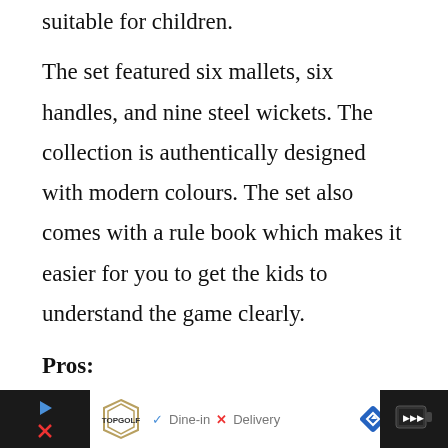suitable for children.
The set featured six mallets, six handles, and nine steel wickets. The collection is authentically designed with modern colours. The set also comes with a rule book which makes it easier for you to get the kids to understand the game clearly.
Pros:
Great value for money
Weather-resistant balls